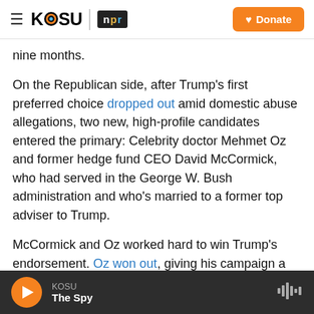KOSU | npr — Donate
nine months.
On the Republican side, after Trump's first preferred choice dropped out amid domestic abuse allegations, two new, high-profile candidates entered the primary: Celebrity doctor Mehmet Oz and former hedge fund CEO David McCormick, who had served in the George W. Bush administration and who's married to a former top adviser to Trump.
McCormick and Oz worked hard to win Trump's endorsement. Oz won out, giving his campaign a boost, but that didn't stop McCormick from amassing...
KOSU — The Spy